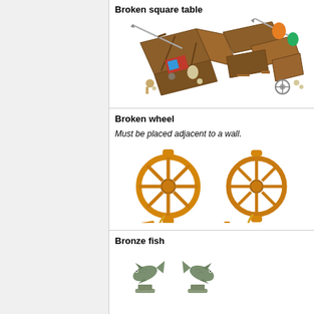Broken square table
[Figure (illustration): Two views of a broken square wooden table with various items scattered on and around it including swords, books, bottles and debris.]
Broken wheel
Must be placed adjacent to a wall.
[Figure (illustration): Two views of a broken ship's wheel (helm) in orange/brown wood with rope and small pieces fallen around it.]
Bronze fish
[Figure (illustration): Two bronze fish figurines on pedestals facing each other.]